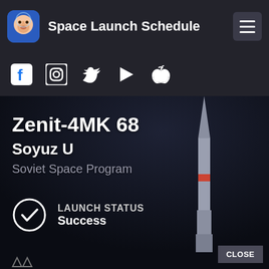Space Launch Schedule
[Figure (screenshot): Social media icons row: Facebook, Instagram, Twitter, Google Play, Apple]
Zenit-4MK 68
Soyuz U
Soviet Space Program
LAUNCH STATUS
Success
[Figure (photo): Rocket (Soyuz) on launch pad, dark atmospheric background]
CLOSE